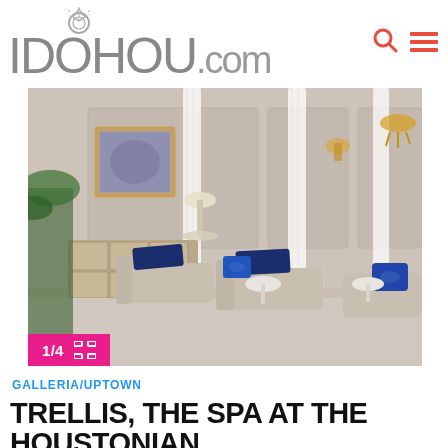IDOHOU.com
[Figure (photo): Elegant spa lounge interior with beige chaise lounges, navy blue throw blankets and pillows, white sheer curtains, marble side tables, and a gold-framed artwork on the wall]
1/4
GALLERIA/UPTOWN
TRELLIS, THE SPA AT THE HOUSTONIAN